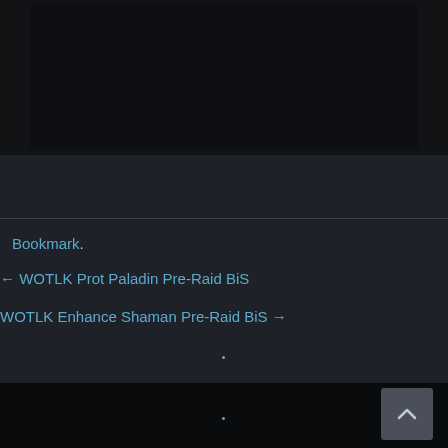[Figure (other): Dark image/screenshot area at the top of the page]
Bookmark.
← WOTLK Prot Paladin Pre-Raid BiS
WOTLK Enhance Shaman Pre-Raid BiS →
Back to top button